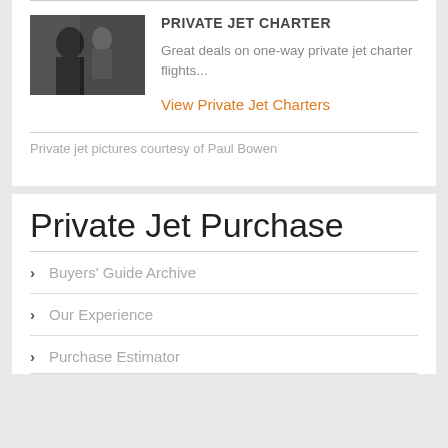PRIVATE JET CHARTER
Great deals on one-way private jet charter flights...
View Private Jet Charters
Private jet pictures courtesy of Paul Bowen
Private Jet Purchase
Buyers' Guide Archive
Our Experience
Purchase Estimator